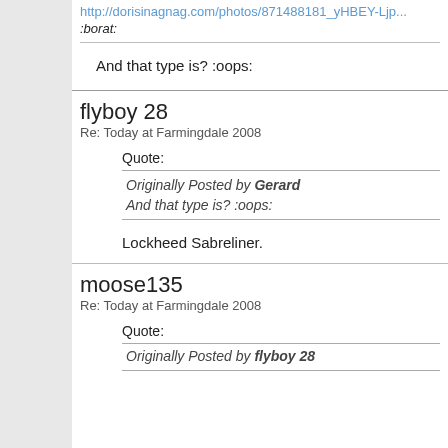http://dorisinagnag.com/photos/... :borat:
And that type is? :oops:
flyboy 28
Re: Today at Farmingdale 2008
Quote:
Originally Posted by Gerard
And that type is? :oops:
Lockheed Sabreliner.
moose135
Re: Today at Farmingdale 2008
Quote:
Originally Posted by flyboy 28